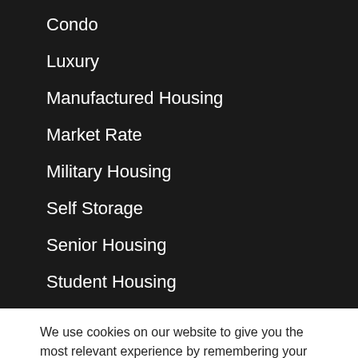Condo
Luxury
Manufactured Housing
Market Rate
Military Housing
Self Storage
Senior Housing
Student Housing
We use cookies on our website to give you the most relevant experience by remembering your preferences and repeat visits. By clicking “Accept All”, you consent to the use of ALL the cookies. However, you may visit "Cookie Settings" to provide a controlled consent.
Cookie Settings | Accept All